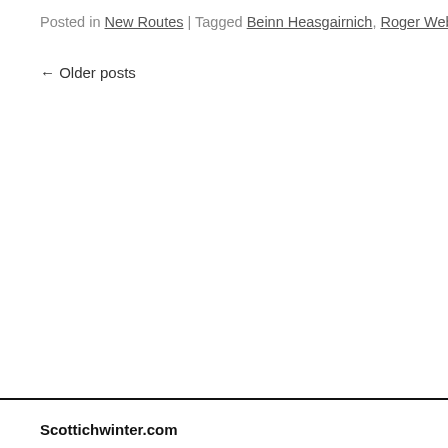Posted in New Routes | Tagged Beinn Heasgairnich, Roger Webb, Simon Ric
← Older posts
Scottichwinter.com